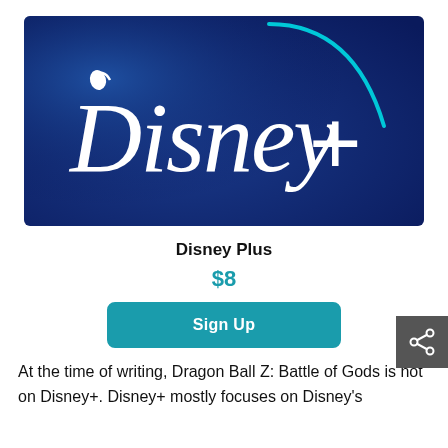[Figure (logo): Disney+ logo on dark blue gradient background with white Disney+ text and teal arc]
Disney Plus
$8
Sign Up
At the time of writing, Dragon Ball Z: Battle of Gods is not on Disney+. Disney+ mostly focuses on Disney's